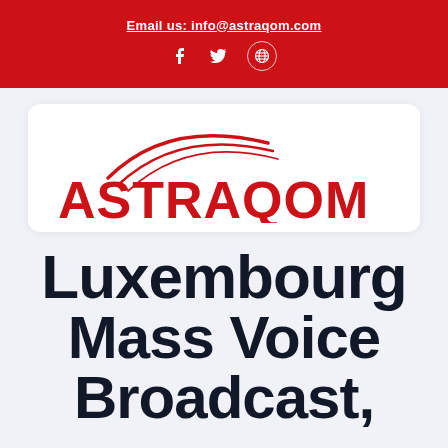Email us: info@astraqom.com
[Figure (logo): ASTRAQOM logo with red swoosh arcs above bold red text reading ASTRAQOM]
Luxembourg Mass Voice Broadcast,